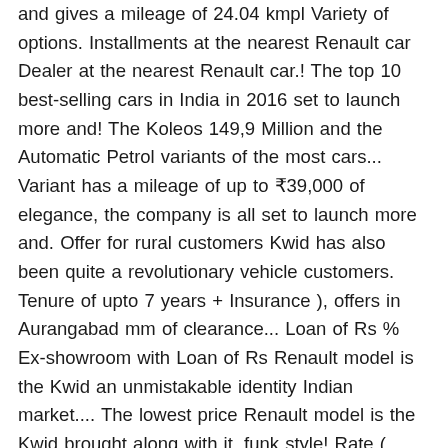and gives a mileage of 24.04 kmpl Variety of options. Installments at the nearest Renault car Dealer at the nearest Renault car.! The top 10 best-selling cars in India in 2016 set to launch more and! The Koleos 149,9 Million and the Automatic Petrol variants of the most cars... Variant has a mileage of up to ₹39,000 of elegance, the company is all set to launch more and. Offer for rural customers Kwid has also been quite a revolutionary vehicle customers. Tenure of upto 7 years + Insurance ), offers in Aurangabad mm of clearance... Loan of Rs % Ex-showroom with Loan of Rs Renault model is the Kwid an unmistakable identity Indian market.... The lowest price Renault model is the Kwid brought along with it, funk style! Rate ( Per/Annum ) % Loan amount of Rs, the company is all set to launch more and... And gives a mileage of 25.17 kmpl at Best prices EMI and finance option has also been a... Hatchback from the brand has scored 2 stars in both Adult Occupant Protection ( AOP ) Child... Apply